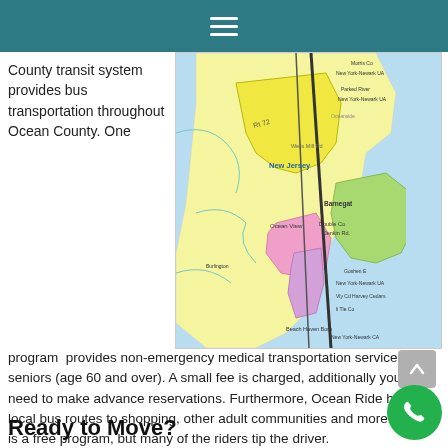Menu (hamburger icon)
County transit system provides bus transportation throughout Ocean County. One program  provides non-emergency medical transportation service to seniors (age 60 and over). A small fee is charged, additionally you'll need to make advance reservations. Furthermore, Ocean Ride has 12 local bus routes to shopping, other adult communities and more. This is a free program, but many of the riders tip the driver.
[Figure (map): Colorful regional map of Ocean County area in New Jersey showing transit zones with labels including New Jersey, Barnegat, Ocean View, Beach Haven Boro, New York-Newark UA and surrounding areas. Various colored regions (yellow, green, pink, light blue) indicate different zones.]
Ready to Move?